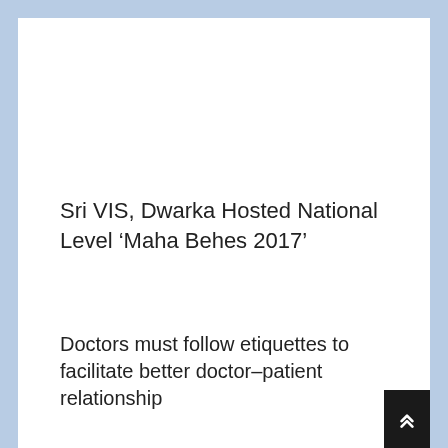Sri VIS, Dwarka Hosted National Level ‘Maha Behes 2017’
Doctors must follow etiquettes to facilitate better doctor–patient relationship